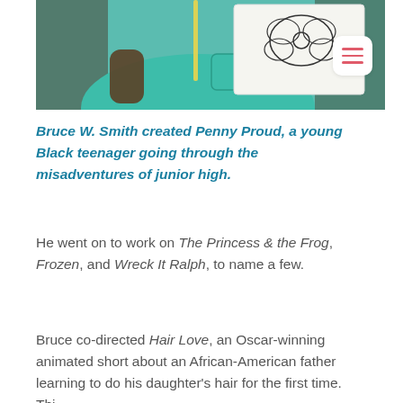[Figure (photo): A person in a teal/mint green outfit holding up a white piece of paper with a pencil drawing on it, appearing to be in a classroom or workshop setting. A yellow lanyard is visible.]
Bruce W. Smith created Penny Proud, a young Black teenager going through the misadventures of junior high.
He went on to work on The Princess & the Frog, Frozen, and Wreck It Ralph, to name a few.
Bruce co-directed Hair Love, an Oscar-winning animated short about an African-American father learning to do his daughter's hair for the first time. This